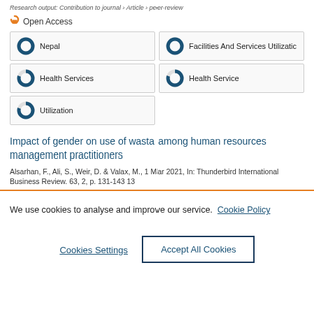Research output: Contribution to journal › Article › peer-review
Open Access
Nepal
Facilities And Services Utilizatic
Health Services
Health Service
Utilization
Impact of gender on use of wasta among human resources management practitioners
Alsarhan, F., Ali, S., Weir, D. & Valax, M., 1 Mar 2021, In: Thunderbird International Business Review. 63, 2, p. 131-143 13
We use cookies to analyse and improve our service. Cookie Policy
Cookies Settings
Accept All Cookies